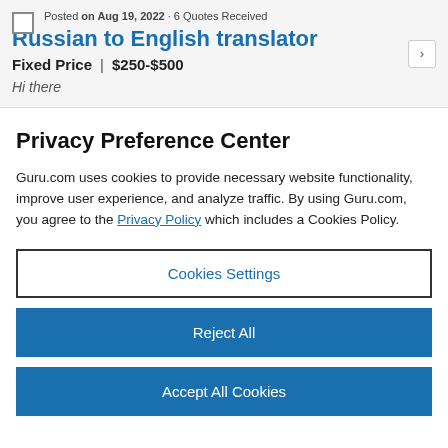Posted on Aug 19, 2022 · 6 Quotes Received
Russian to English translator
Fixed Price | $250-$500
Hi there
Privacy Preference Center
Guru.com uses cookies to provide necessary website functionality, improve user experience, and analyze traffic. By using Guru.com, you agree to the Privacy Policy which includes a Cookies Policy.
Cookies Settings
Reject All
Accept All Cookies